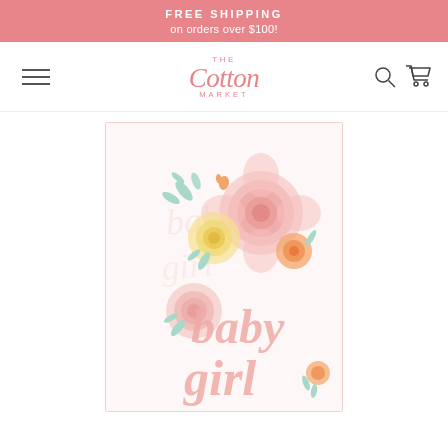FREE SHIPPING on orders over $100!
[Figure (logo): The Cotton Market logo with hamburger menu, search icon and cart icon]
[Figure (photo): Baby girl blanket product photo with floral design showing pink, yellow and orange flowers with 'baby girl' text]